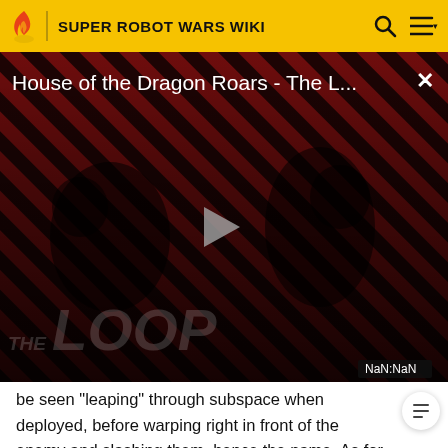SUPER ROBOT WARS WIKI
[Figure (screenshot): Video player showing 'House of the Dragon Roars - The L...' with diagonal red and dark stripe pattern background, two dark silhouetted figures, a play button in the center, 'THE LOOP' text watermark, and NaN:NaN time counter. Close X button top right.]
be seen "leaping" through subspace when deployed, before warping right in front of the enemy and slashing them, hence the name. As for storage, in Record of ATX they can be seen being released from the rear skirt armor. Swappable Weapon in OG.